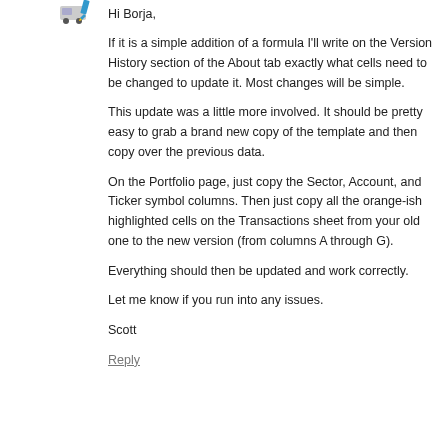[Figure (illustration): Small avatar icon with a car/truck and pencil graphic]
Hi Borja,
If it is a simple addition of a formula I'll write on the Version History section of the About tab exactly what cells need to be changed to update it. Most changes will be simple.
This update was a little more involved. It should be pretty easy to grab a brand new copy of the template and then copy over the previous data.
On the Portfolio page, just copy the Sector, Account, and Ticker symbol columns. Then just copy all the orange-ish highlighted cells on the Transactions sheet from your old one to the new version (from columns A through G).
Everything should then be updated and work correctly.
Let me know if you run into any issues.
Scott
Reply